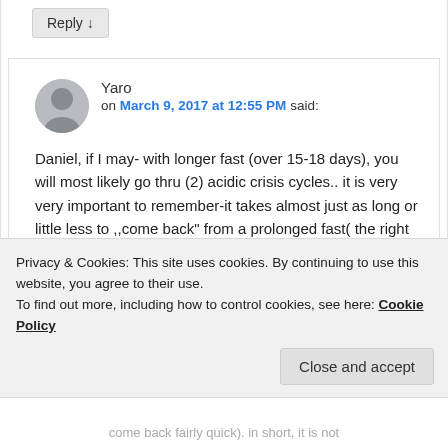Reply ↓
Yaro
on March 9, 2017 at 12:55 PM said:
Daniel, if I may- with longer fast (over 15-18 days), you will most likely go thru (2) acidic crisis cycles.. it is very very important to remember-it takes almost just as long or little less to ,,come back" from a prolonged fast( the right way)..I ve read a book by a russian Dr.Filonov who is the leading authority doctor on dry fast and
Privacy & Cookies: This site uses cookies. By continuing to use this website, you agree to their use.
To find out more, including how to control cookies, see here: Cookie Policy
Close and accept
come back fairly quick). in short, it is not